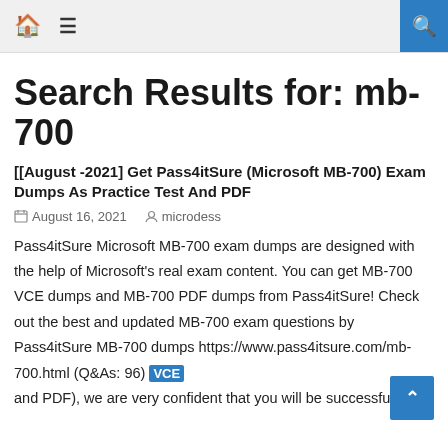🏠 ≡ [search icon]
Search Results for: mb-700
[[August -2021] Get Pass4itSure (Microsoft MB-700) Exam Dumps As Practice Test And PDF
August 16, 2021   microdess
Pass4itSure Microsoft MB-700 exam dumps are designed with the help of Microsoft's real exam content. You can get MB-700 VCE dumps and MB-700 PDF dumps from Pass4itSure! Check out the best and updated MB-700 exam questions by Pass4itSure MB-700 dumps https://www.pass4itsure.com/mb-700.html (Q&As: 96) VCE and PDF), we are very confident that you will be successful[…]